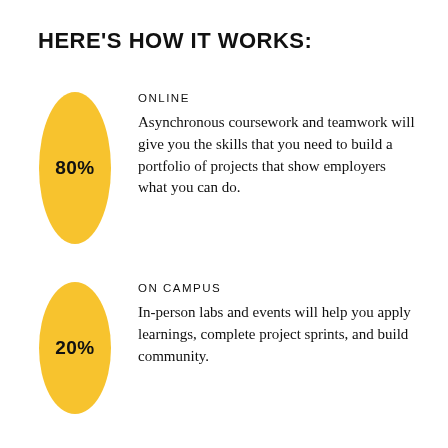HERE'S HOW IT WORKS:
[Figure (infographic): Yellow oval shape with '80%' text label in bold, representing the online component percentage]
ONLINE
Asynchronous coursework and teamwork will give you the skills that you need to build a portfolio of projects that show employers what you can do.
[Figure (infographic): Yellow oval shape with '20%' text label in bold, representing the on-campus component percentage]
ON CAMPUS
In-person labs and events will help you apply learnings, complete project sprints, and build community.